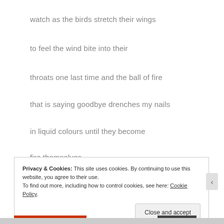watch as the birds stretch their wings
to feel the wind bite into their
throats one last time and the ball of fire
that is saying goodbye drenches my nails
in liquid colours until they become
fire themselves
Privacy & Cookies: This site uses cookies. By continuing to use this website, you agree to their use.
To find out more, including how to control cookies, see here: Cookie Policy
Close and accept